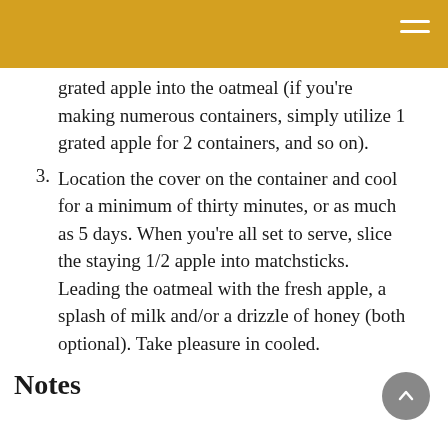grated apple into the oatmeal (if you're making numerous containers, simply utilize 1 grated apple for 2 containers, and so on).
3. Location the cover on the container and cool for a minimum of thirty minutes, or as much as 5 days. When you're all set to serve, slice the staying 1/2 apple into matchsticks. Leading the oatmeal with the fresh apple, a splash of milk and/or a drizzle of honey (both optional). Take pleasure in cooled.
Notes